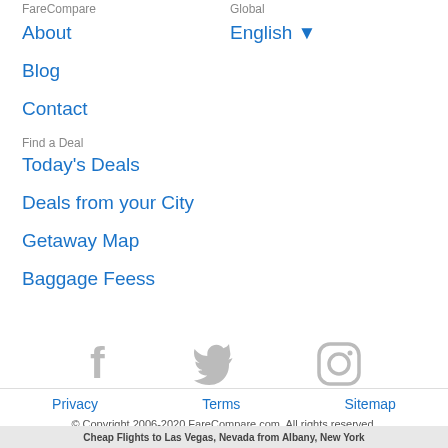FareCompare
About
Blog
Contact
Global
English ▼
Find a Deal
Today's Deals
Deals from your City
Getaway Map
Baggage Feess
[Figure (illustration): Social media icons: Facebook, Twitter, Instagram in gray]
Privacy   Terms   Sitemap
© Copyright 2006-2020 FareCompare.com. All rights reserved.
Cheap Flights to Las Vegas, Nevada from Albany, New York